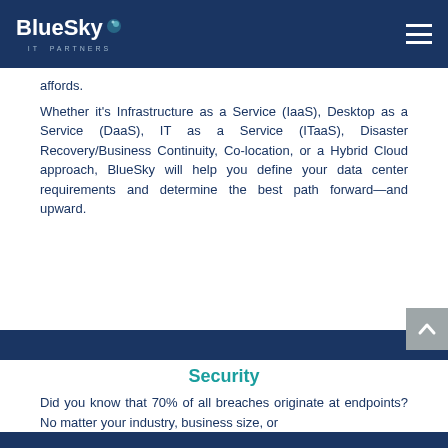BlueSky IT Partners
affords.
Whether it's Infrastructure as a Service (IaaS), Desktop as a Service (DaaS), IT as a Service (ITaaS), Disaster Recovery/Business Continuity, Co-location, or a Hybrid Cloud approach, BlueSky will help you define your data center requirements and determine the best path forward—and upward.
Security
Did you know that 70% of all breaches originate at endpoints? No matter your industry, business size, or